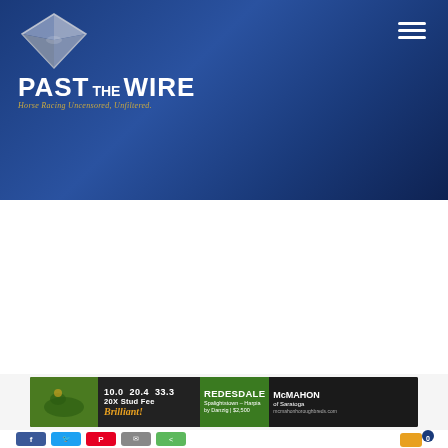PAST THE WIRE — Horse Racing Uncensored, Unfiltered.
Oaks Sets Record Handle as Secret Oath Claims the Lilies
May 7, 2022
[Figure (photo): Advertisement banner for Redesdale horse — 10.0 20.4 33.3, 20X Stud Fee, Brilliant!, REDESDALE, Spalightstown - Harpia by Danzig | $2,500, McMahon of Saratoga]
[Figure (infographic): Social share buttons: Facebook, Twitter, Pinterest, Email, Share, and notification bell with 0 count]